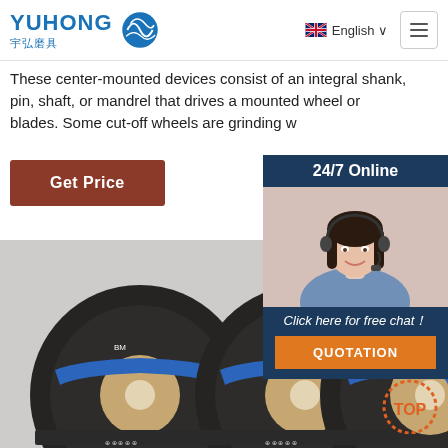YUHONG 宇弘磨具 | English
These center-mounted devices consist of an integral shank, pin, shaft, or mandrel that drives a mounted wheel or blades. Some cut-off wheels are grinding w...
Get Price
[Figure (screenshot): 24/7 Online chat panel with female agent wearing headset, blue background, Click here for free chat! button, and QUOTATION orange button]
[Figure (photo): Three black grinding/cut-off wheels with blue stripe labels and center holes, viewed at an angle on grey background]